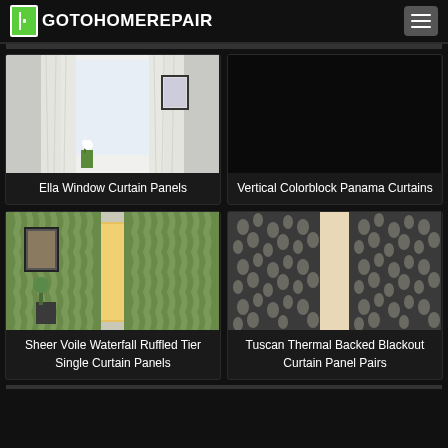GOTOHOMEREPAIR
[Figure (photo): Ella Window Curtain Panels - sheer white curtains in a bright room]
Ella Window Curtain Panels
[Figure (photo): Vertical Colorblock Panama Curtains - dark image]
Vertical Colorblock Panama Curtains
[Figure (photo): Sheer Voile Waterfall Ruffled Tier Single Curtain Panels - green ruffled curtains]
Sheer Voile Waterfall Ruffled Tier Single Curtain Panels
[Figure (photo): Tuscan Thermal Backed Blackout Curtain Panel Pairs - dark patterned curtains]
Tuscan Thermal Backed Blackout Curtain Panel Pairs